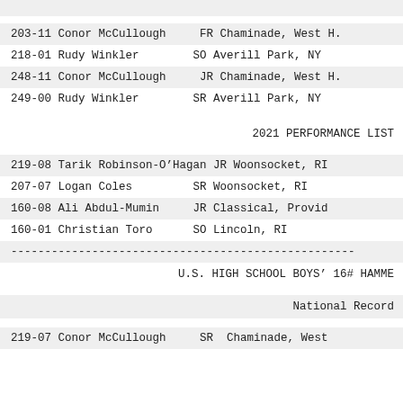203-11 Conor McCullough   FR Chaminade, West H.
218-01 Rudy Winkler       SO Averill Park, NY
248-11 Conor McCullough   JR Chaminade, West H.
249-00 Rudy Winkler       SR Averill Park, NY
2021 PERFORMANCE LIST
219-08 Tarik Robinson-O'Hagan JR Woonsocket, RI
207-07 Logan Coles        SR Woonsocket, RI
160-08 Ali Abdul-Mumin    JR Classical, Providence
160-01 Christian Toro     SO Lincoln, RI
---------------------------------------------------
U.S. HIGH SCHOOL BOYS' 16# HAMMER
National Record
219-07 Conor McCullough   SR Chaminade, West H.